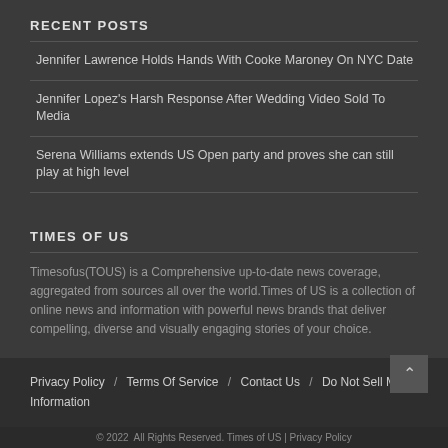RECENT POSTS
Jennifer Lawrence Holds Hands With Cooke Maroney On NYC Date
Jennifer Lopez's Harsh Response After Wedding Video Sold To Media
Serena Williams extends US Open party and proves she can still play at high level
TIMES OF US
Timesofus(TOUS) is a Comprehensive up-to-date news coverage, aggregated from sources all over the world.Times of US is a collection of online news and information with powerful news brands that deliver compelling, diverse and visually engaging stories of your choice.
Privacy Policy / Terms Of Service / Contact Us / Do Not Sell My Information
© 2022  All Rights Reserved. Times of US | Privacy Policy